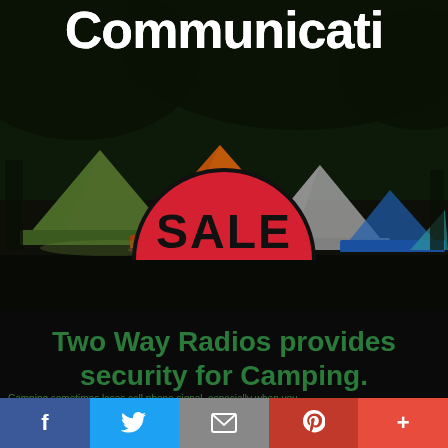Communicati
[Figure (photo): Night camping scene with colorful tents (green, orange, grey, blue) set up in a dark forest, with a large red SALE semicircle badge overlaid]
Two Way Radios provides security for Camping.
Camping sometimes loses cell phone signal, especially when you
Facebook | Twitter | Email | Pinterest | More